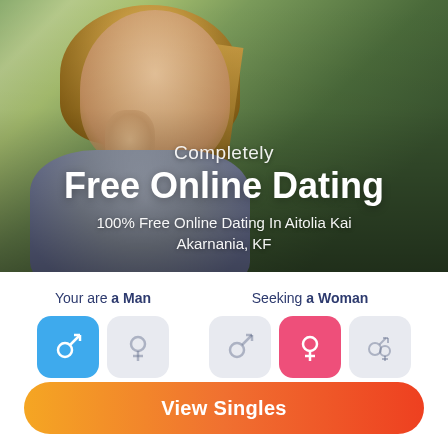[Figure (photo): Blonde woman resting chin on hand, looking away thoughtfully, blurred green outdoor background]
Completely
Free Online Dating
100% Free Online Dating In Aitolia Kai Akarnania, KF
Your are a Man
Seeking a Woman
View Singles